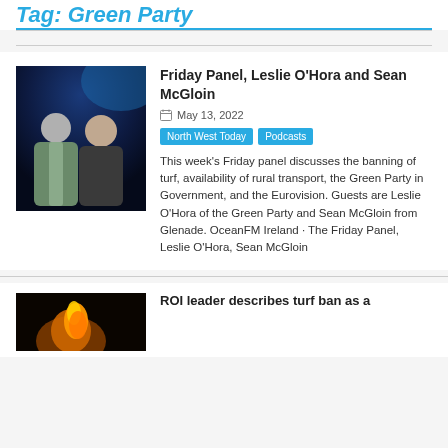Tag: Green Party
Friday Panel, Leslie O'Hora and Sean McGloin
May 13, 2022
North West Today
Podcasts
This week's Friday panel discusses the banning of turf, availability of rural transport, the Green Party in Government, and the Eurovision. Guests are Leslie O'Hora of the Green Party and Sean McGloin from Glenade. OceanFM Ireland · The Friday Panel, Leslie O'Hora, Sean McGloin
[Figure (photo): Two people standing together in a room with blue lighting]
ROI leader describes turf ban as a
[Figure (photo): Fire/flame photo in dark background]